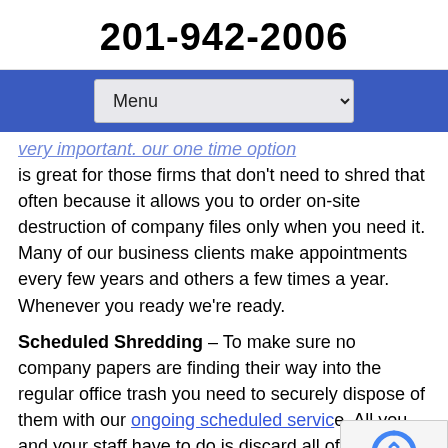201-942-2006
very important. Our one time option is great for those firms that don't need to shred that often because it allows you to order on-site destruction of company files only when you need it. Many of our business clients make appointments every few years and others a few times a year.  Whenever you ready we're ready.
Scheduled Shredding – To make sure no company papers are finding their way into the regular office trash you need to securely dispose of them with our ongoing scheduled service. All you and your staff have to do is discard all of the documents you no